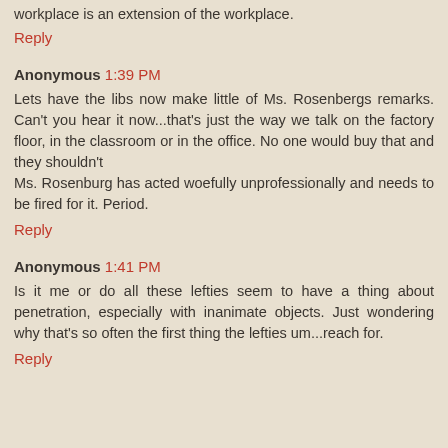workplace is an extension of the workplace.
Reply
Anonymous 1:39 PM
Lets have the libs now make little of Ms. Rosenbergs remarks. Can't you hear it now...that's just the way we talk on the factory floor, in the classroom or in the office. No one would buy that and they shouldn't
Ms. Rosenburg has acted woefully unprofessionally and needs to be fired for it. Period.
Reply
Anonymous 1:41 PM
Is it me or do all these lefties seem to have a thing about penetration, especially with inanimate objects. Just wondering why that's so often the first thing the lefties um...reach for.
Reply